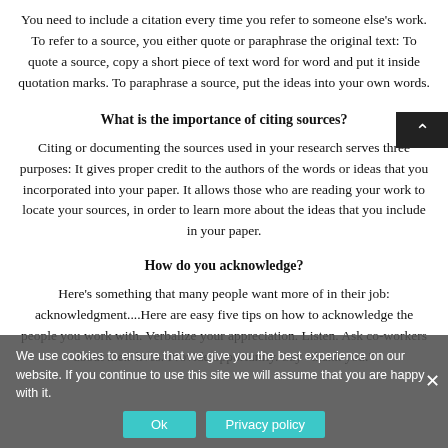You need to include a citation every time you refer to someone else's work. To refer to a source, you either quote or paraphrase the original text: To quote a source, copy a short piece of text word for word and put it inside quotation marks. To paraphrase a source, put the ideas into your own words.
What is the importance of citing sources?
Citing or documenting the sources used in your research serves three purposes: It gives proper credit to the authors of the words or ideas that you incorporated into your paper. It allows those who are reading your work to locate your sources, in order to learn more about the ideas that you include in your paper.
How do you acknowledge?
Here's something that many people want more of in their job: acknowledgment....Here are easy five tips on how to acknowledge the people you work with. Verbalize your appreciation. Listen. Ask co-workers about their lives. Provide opportunity. Say "thank you."